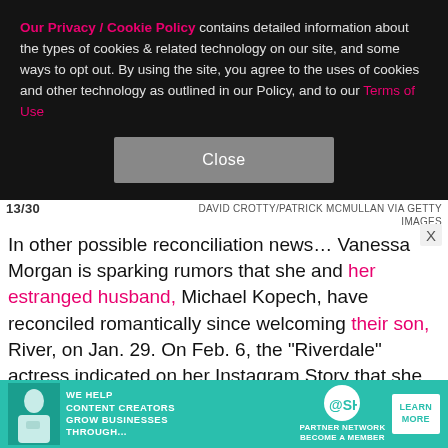Our Privacy / Cookie Policy contains detailed information about the types of cookies & related technology on our site, and some ways to opt out. By using the site, you agree to the uses of cookies and other technology as outlined in our Policy, and to our Terms of Use
Close
13/30   DAVID CROTTY/PATRICK MCMULLAN VIA GETTY IMAGES
In other possible reconciliation news… Vanessa Morgan is sparking rumors that she and her estranged husband, Michael Kopech, have reconciled romantically since welcoming their son, River, on Jan. 29. On Feb. 6, the "Riverdale" actress indicated on her Instagram Story that she and the professional baseball player were spending time together, writing alongside a photo of two champagne glasses, "Baby's asleep, milk pumped, no
[Figure (other): Advertisement banner for SHE Media Partner Network — teal/green background with woman photo, text 'We Help Content Creators Grow Businesses Through...' and SHE logo, and 'Learn More' button]